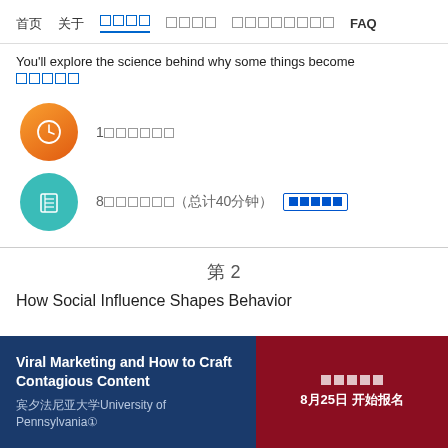首页  关于  课程内容  课程视频  讲师介绍  FAQ
You'll explore the science behind why some things become
课程内容
1周的学习时长
8个视频（总计40分钟）  查看课程
第 2
How Social Influence Shapes Behavior
Viral Marketing and How to Craft Contagious Content
宾夕法尼亚大学University of Pennsylvania①